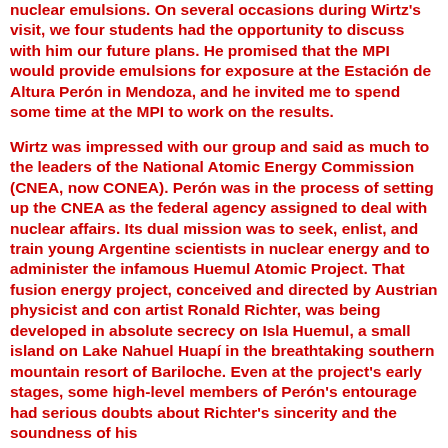nuclear emulsions. On several occasions during Wirtz's visit, we four students had the opportunity to discuss with him our future plans. He promised that the MPI would provide emulsions for exposure at the Estación de Altura Perón in Mendoza, and he invited me to spend some time at the MPI to work on the results.
Wirtz was impressed with our group and said as much to the leaders of the National Atomic Energy Commission (CNEA, now CONEA). Perón was in the process of setting up the CNEA as the federal agency assigned to deal with nuclear affairs. Its dual mission was to seek, enlist, and train young Argentine scientists in nuclear energy and to administer the infamous Huemul Atomic Project. That fusion energy project, conceived and directed by Austrian physicist and con artist Ronald Richter, was being developed in absolute secrecy on Isla Huemul, a small island on Lake Nahuel Huapí in the breathtaking southern mountain resort of Bariloche. Even at the project's early stages, some high-level members of Perón's entourage had serious doubts about Richter's sincerity and the soundness of his